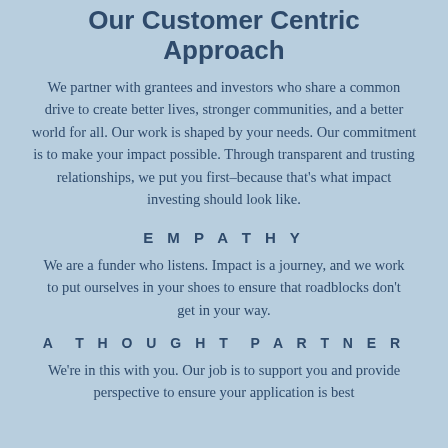Our Customer Centric Approach
We partner with grantees and investors who share a common drive to create better lives, stronger communities, and a better world for all. Our work is shaped by your needs. Our commitment is to make your impact possible. Through transparent and trusting relationships, we put you first–because that's what impact investing should look like.
EMPATHY
We are a funder who listens. Impact is a journey, and we work to put ourselves in your shoes to ensure that roadblocks don't get in your way.
A THOUGHT PARTNER
We're in this with you. Our job is to support you and provide perspective to ensure your application is best